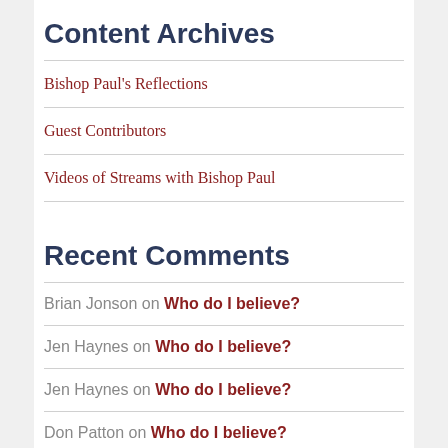Content Archives
Bishop Paul's Reflections
Guest Contributors
Videos of Streams with Bishop Paul
Recent Comments
Brian Jonson on Who do I believe?
Jen Haynes on Who do I believe?
Jen Haynes on Who do I believe?
Don Patton on Who do I believe?